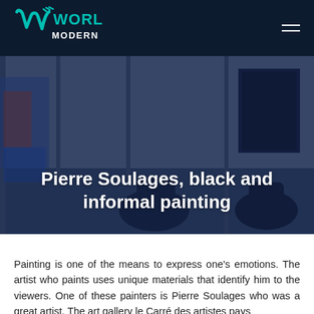World Modern Art
[Figure (photo): Interior of an art gallery with chairs and a painting on the wall, overlaid with a dark navy blue tint]
Pierre Soulages, black and informal painting
Painting is one of the means to express one's emotions. The artist who paints uses unique materials that identify him to the viewers. One of these painters is Pierre Soulages who was a great artist. The art gallery le Carré des artistes pays